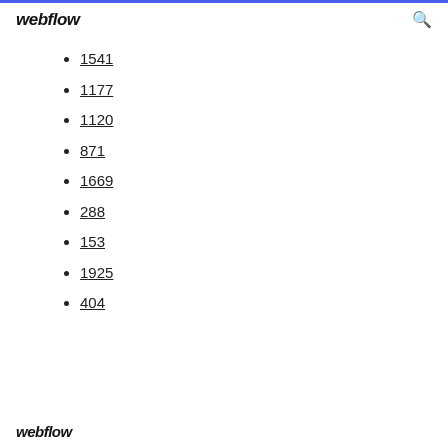webflow
1541
1177
1120
871
1669
288
153
1925
404
webflow